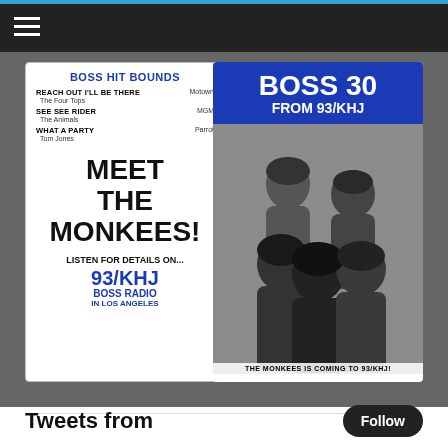[Figure (photo): Vintage 93/KHJ Boss Radio advertisement flyer (left panel) promoting 'Meet The Monkees!' with Boss Hit Bounds songs listed, and a Boss 30 From 93/KHJ card with photo of The Monkees group (right panel)]
Tweets from
Follow